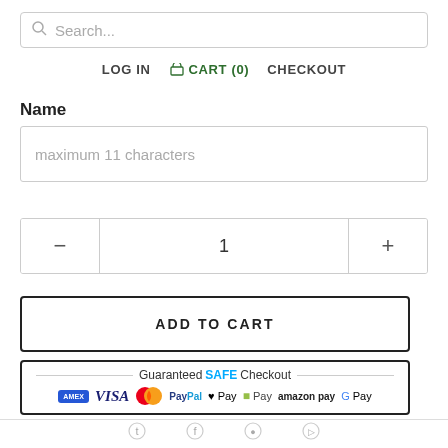Search...
LOG IN   CART (0)   CHECKOUT
Name
maximum 11 characters
− 1 +
ADD TO CART
[Figure (other): Guaranteed SAFE Checkout badge with payment icons: American Express, Visa, Mastercard, PayPal, Apple Pay, Shopify Pay, Amazon Pay, Google Pay]
Social media icons row